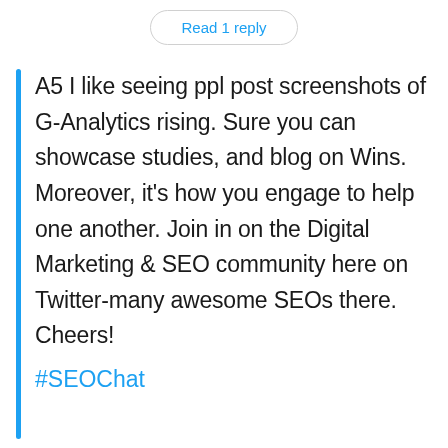Read 1 reply
A5 I like seeing ppl post screenshots of G-Analytics rising. Sure you can showcase studies, and blog on Wins. Moreover, it's how you engage to help one another. Join in on the Digital Marketing & SEO community here on Twitter-many awesome SEOs there. Cheers! #SEOChat